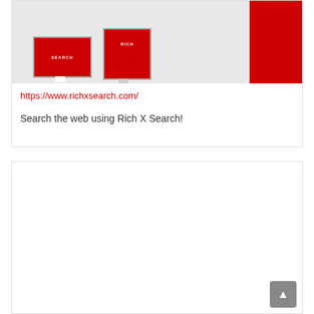[Figure (screenshot): Screenshot of Rich X Search website showing two monitors (one desktop, one tablet) with red backgrounds displaying 'SEARCH' and 'RICH X' branding against a light gray background, with a red block on the right side.]
https://www.richxsearch.com/
Search the web using Rich X Search!
[Figure (other): Empty white card/box area below, with a scroll-to-top button (dark gray rounded square with upward triangle arrow) in the bottom-right corner.]